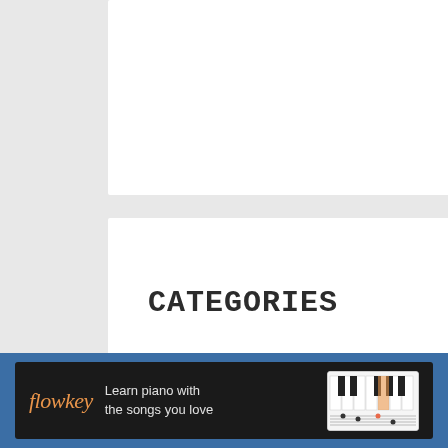[Figure (screenshot): White card area at top of page (partially visible)]
CATEGORIES
[Figure (screenshot): Select Category dropdown box]
[Figure (infographic): Orange promotional banner with text FREE MUSIC LESSONS IN YOUR INBOX]
[Figure (logo): Flowkey advertisement banner with text: Learn piano with the songs you love]